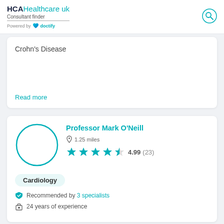HCAHealthcare uk Consultant finder Powered by doctify
Crohn's Disease
Read more
Professor Mark O'Neill
1.25 miles
4.99 (23)
Cardiology
Recommended by 3 specialists
24 years of experience